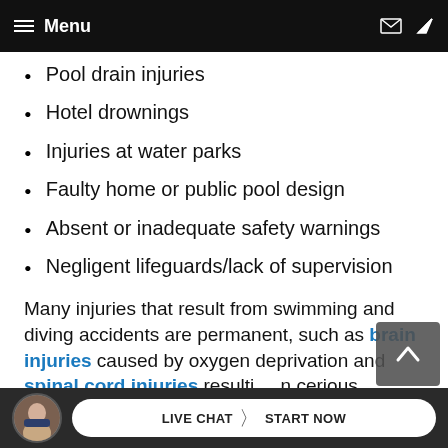≡ Menu
Pool drain injuries
Hotel drownings
Injuries at water parks
Faulty home or public pool design
Absent or inadequate safety warnings
Negligent lifeguards/lack of supervision
Many injuries that result from swimming and diving accidents are permanent, such as brain injuries caused by oxygen deprivation and spinal cord injuries resulting in serious